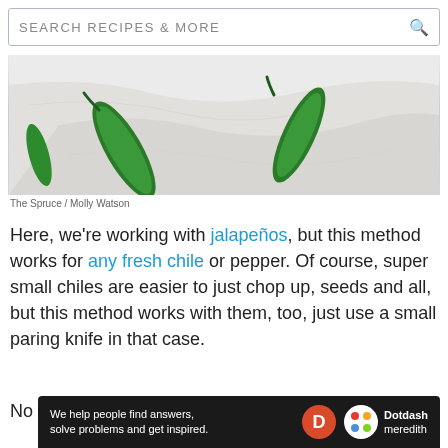SEARCH RECIPES & MORE
[Figure (photo): Close-up photo of green jalapeño peppers on a white marble surface]
The Spruce / Molly Watson
Here, we're working with jalapeños, but this method works for any fresh chile or pepper. Of course, super small chiles are easier to just chop up, seeds and all, but this method works with them, too, just use a small paring knife in that case.
No matter what kind of chiles you're using, look
[Figure (other): Dotdash Meredith advertisement banner: 'We help people find answers, solve problems and get inspired.']